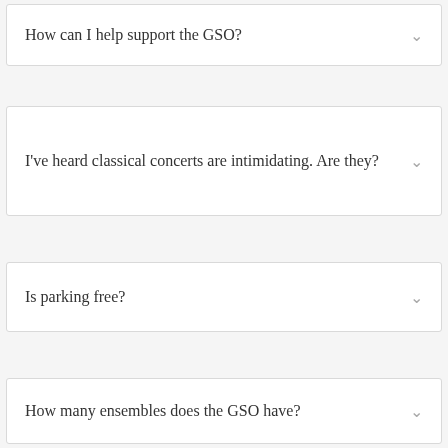How can I help support the GSO?
I've heard classical concerts are intimidating. Are they?
Is parking free?
How many ensembles does the GSO have?